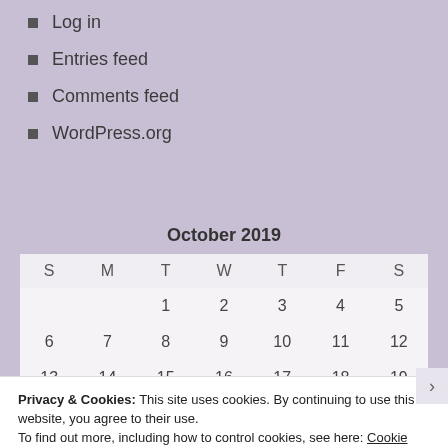Log in
Entries feed
Comments feed
WordPress.org
| S | M | T | W | T | F | S |
| --- | --- | --- | --- | --- | --- | --- |
|  |  | 1 | 2 | 3 | 4 | 5 |
| 6 | 7 | 8 | 9 | 10 | 11 | 12 |
| 13 | 14 | 15 | 16 | 17 | 18 | 19 |
Privacy & Cookies: This site uses cookies. By continuing to use this website, you agree to their use.
To find out more, including how to control cookies, see here: Cookie Policy
Close and accept